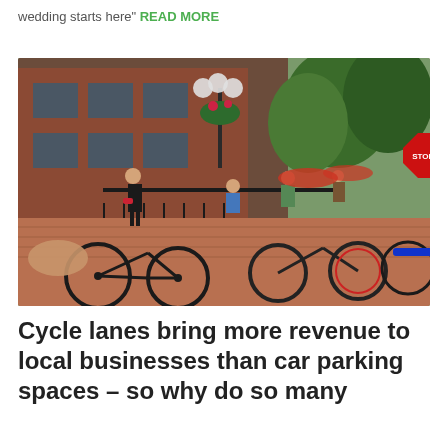wedding starts here" READ MORE
[Figure (photo): Outdoor urban street scene with bicycles parked in the foreground, people dining at an outdoor cafe patio next to a red brick building, trees lining the street, and a stop sign visible in the background.]
Cycle lanes bring more revenue to local businesses than car parking spaces – so why do so many